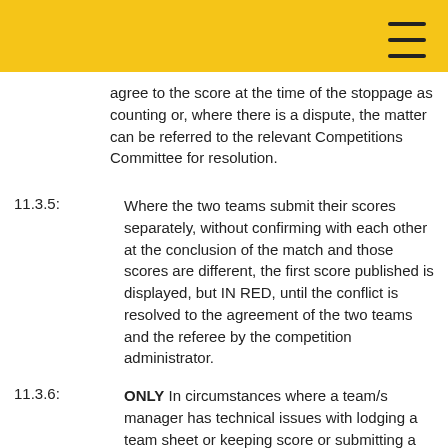agree to the score at the time of the stoppage as counting or, where there is a dispute, the matter can be referred to the relevant Competitions Committee for resolution.
11.3.5:  Where the two teams submit their scores separately, without confirming with each other at the conclusion of the match and those scores are different, the first score published is displayed, but IN RED, until the conflict is resolved to the agreement of the two teams and the referee by the competition administrator.
11.3.6:  ONLY In circumstances where a team/s manager has technical issues with lodging a team sheet or keeping score or submitting a score